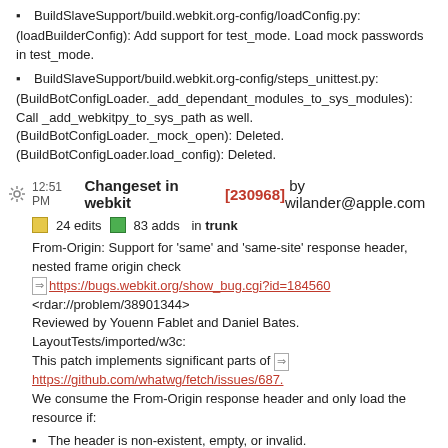BuildSlaveSupport/build.webkit.org-config/loadConfig.py:
(loadBuilderConfig): Add support for test_mode. Load mock passwords in test_mode.
BuildSlaveSupport/build.webkit.org-config/steps_unittest.py:
(BuildBotConfigLoader._add_dependant_modules_to_sys_modules): Call _add_webkitpy_to_sys_path as well.
(BuildBotConfigLoader._mock_open): Deleted.
(BuildBotConfigLoader.load_config): Deleted.
12:51 PM Changeset in webkit [230968] by wilander@apple.com
24 edits   83 adds   in trunk
From-Origin: Support for 'same' and 'same-site' response header, nested frame origin check
https://bugs.webkit.org/show_bug.cgi?id=184560
<rdar://problem/38901344>
Reviewed by Youenn Fablet and Daniel Bates.
LayoutTests/imported/w3c:
This patch implements significant parts of https://github.com/whatwg/fetch/issues/687.
We consume the From-Origin response header and only load the resource if:
The header is non-existent, empty, or invalid.
The header specifies 'same' and the resource's origin matches the originating document's origin and the origins up the frame tree.
The header specifies...